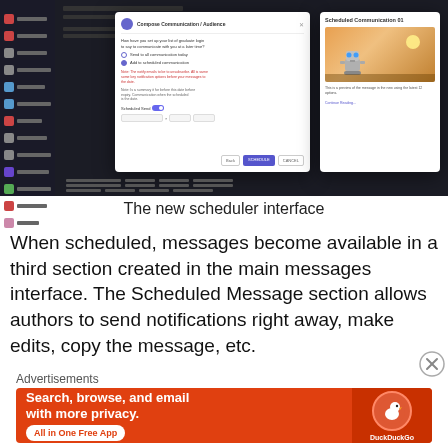[Figure (screenshot): Screenshot of a scheduling interface with a modal dialog for composing/scheduling a communication. A preview panel shows a 'Scheduled Communication 01' with a robot (WALL-E) image against a sunset background.]
The new scheduler interface
When scheduled, messages become available in a third section created in the main messages interface. The Scheduled Message section allows authors to send notifications right away, make edits, copy the message, etc.
Advertisements
[Figure (screenshot): DuckDuckGo advertisement banner — 'Search, browse, and email with more privacy. All in One Free App' with DuckDuckGo logo on orange background.]